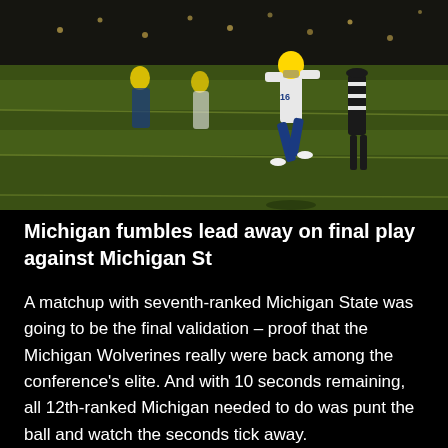[Figure (photo): A football player in a Michigan Wolverines uniform running on the field during a night game, with other players and a referee visible in the background on a green turf field.]
Michigan fumbles lead away on final play against Michigan St
A matchup with seventh-ranked Michigan State was going to be the final validation – proof that the Michigan Wolverines really were back among the conference's elite. And with 10 seconds remaining, all 12th-ranked Michigan needed to do was punt the ball and watch the seconds tick away.
That final play will go down in Michigan Stadium history. With 10 seconds left Saturday and the